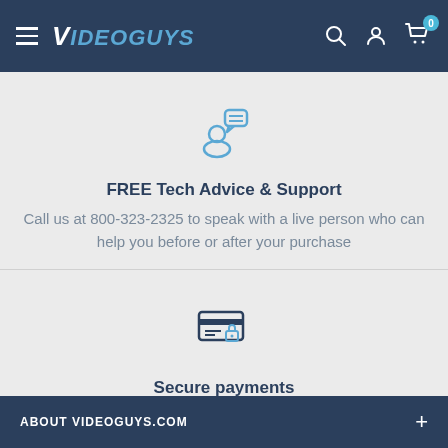Videoguys — navigation header with hamburger menu, logo, search, account, and cart icons
[Figure (illustration): Icon of a person with a speech/chat bubble above their head, in blue outline style]
FREE Tech Advice & Support
Call us at 800-323-2325 to speak with a live person who can help you before or after your purchase
[Figure (illustration): Icon of a credit card with a lock/security symbol, in blue outline style]
Secure payments
Videoguys.com proudly accepts all major U.S. credit cards and will protect your safety & security
ABOUT VIDEOGUYS.COM +